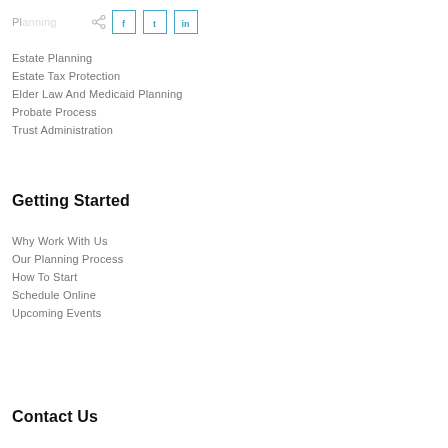Planning [partial]
[Figure (other): Share icon and social media buttons for Facebook, Twitter, LinkedIn]
Estate Planning
Estate Tax Protection
Elder Law And Medicaid Planning
Probate Process
Trust Administration
Getting Started
Why Work With Us
Our Planning Process
How To Start
Schedule Online
Upcoming Events
Contact Us